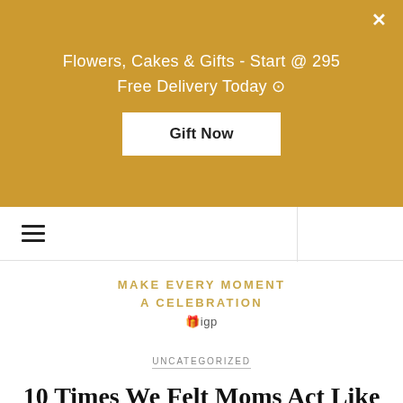[Figure (other): Golden/amber colored advertisement banner for flowers, cakes and gifts. Contains text 'Flowers, Cakes & Gifts - Start @ 295', 'Free Delivery Today', a 'Gift Now' button, and a close (×) button in the top right corner.]
≡ (hamburger menu icon)
MAKE EVERY MOMENT A CELEBRATION
🎁igp
UNCATEGORIZED
10 Times We Felt Moms Act Like Warriors In Real Life